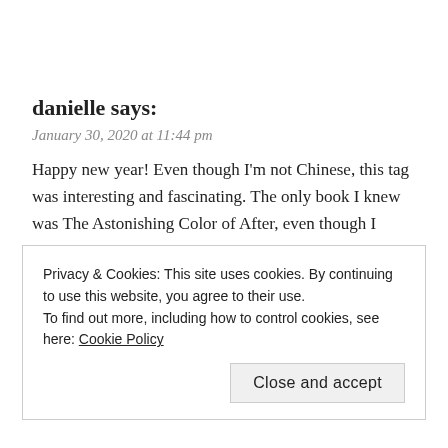danielle says:
January 30, 2020 at 11:44 pm
Happy new year! Even though I'm not Chinese, this tag was interesting and fascinating. The only book I knew was The Astonishing Color of After, even though I havent read it lol
★ Like
REPLY
Privacy & Cookies: This site uses cookies. By continuing to use this website, you agree to their use.
To find out more, including how to control cookies, see here: Cookie Policy
Close and accept